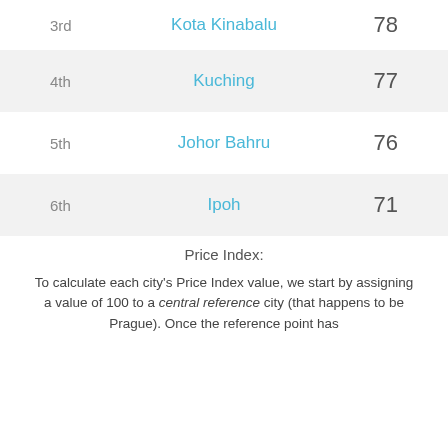| Rank | City | Score |
| --- | --- | --- |
| 3rd | Kota Kinabalu | 78 |
| 4th | Kuching | 77 |
| 5th | Johor Bahru | 76 |
| 6th | Ipoh | 71 |
Price Index:
To calculate each city's Price Index value, we start by assigning a value of 100 to a central reference city (that happens to be Prague). Once the reference point has